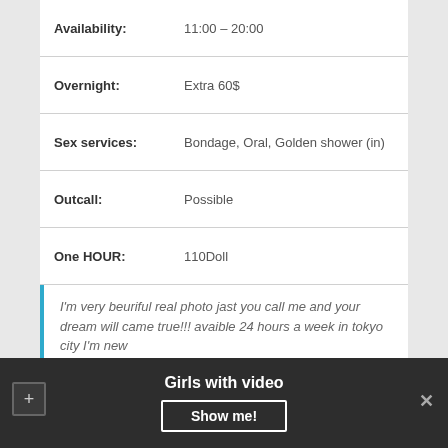| Field | Value |
| --- | --- |
| Availability: | 11:00 – 20:00 |
| Overnight: | Extra 60$ |
| Sex services: | Bondage, Oral, Golden shower (in) |
| Outcall: | Possible |
| One HOUR: | 110Doll |
| Gangbang: | 350$ |
| Bust: | Silicone |
More photo
I'm very beuriful real photo jast you call me and your dream will came true!!! avaible 24 hours a week in tokyo city I'm new
Girls with video
Show me!